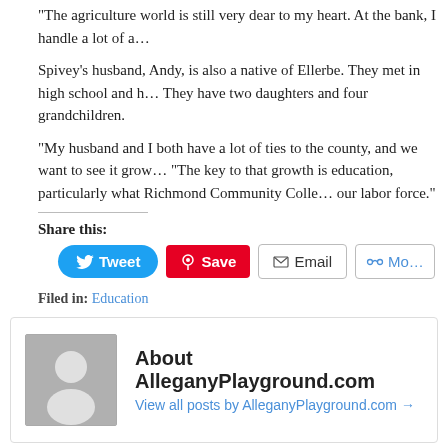“The agriculture world is still very dear to my heart. At the bank, I handle a lot of a…
Spivey’s husband, Andy, is also a native of Ellerbe. They met in high school and h… They have two daughters and four grandchildren.
“My husband and I both have a lot of ties to the county, and we want to see it grow… “The key to that growth is education, particularly what Richmond Community Colle… our labor force.”
Share this:
Filed in: Education
About AlleganyPlayground.com
View all posts by AlleganyPlayground.com →
You might like: